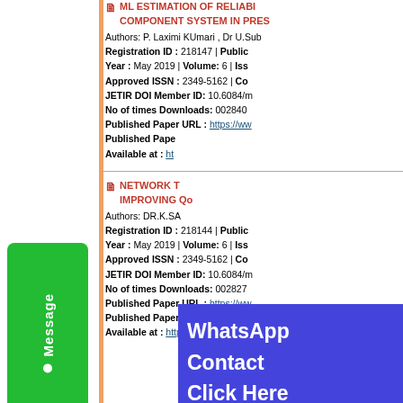ML ESTIMATION OF RELIABILITY COMPONENT SYSTEM IN PRES... Authors: P. Laximi KUmari , Dr U.Sub... Registration ID : 218147 | Public... Year : May 2019 | Volume: 6 | Iss... Approved ISSN : 2349-5162 | Co... JETIR DOI Member ID: 10.6084/m... No of times Downloads: 002840... Published Paper URL : https://ww... Published Pape... Available at : ht...
NETWORK T... IMPROVING Qo... Authors: DR.K.SA... Registration ID : 218144 | Public... Year : May 2019 | Volume: 6 | Iss... Approved ISSN : 2349-5162 | Co... JETIR DOI Member ID: 10.6084/m... No of times Downloads: 002827... Published Paper URL : https://ww... Published Paper PDF : https://ww... Available at : http://www.jetir.org/p...